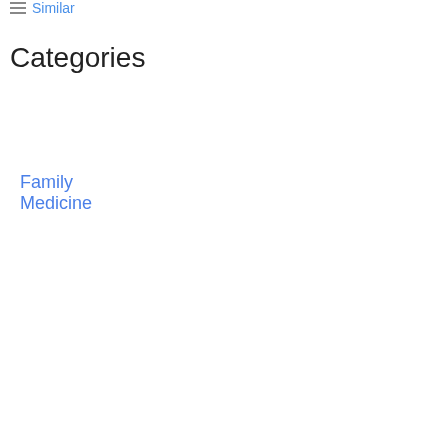Similar
Categories
Family Medicine